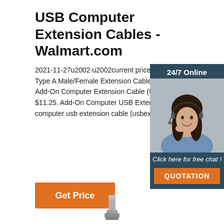USB Computer Extension Cables - Walmart.com
2021-11-27u2002·u2002current price $12.88. Simyoung 10M 30FT USB 2.0 Type A Male/Female Extension Cable for Computer Printer PC Cord BLACK. Add-On Computer Extension Cable (USBEXTAA6) $11.25. current price $11.25. Add-On Computer USB Extension Cable (USBEXTAA6) add-on computer usb extension cable (usbextaa6inb) $18.66.
[Figure (photo): Customer service representative woman with headset smiling, in a dark blue/teal chat widget banner with '24/7 Online' header, 'Click here for free chat!' text, and orange QUOTATION button]
Get Price
[Figure (photo): Partial view of a USB cable connector or plug at the bottom of the page]